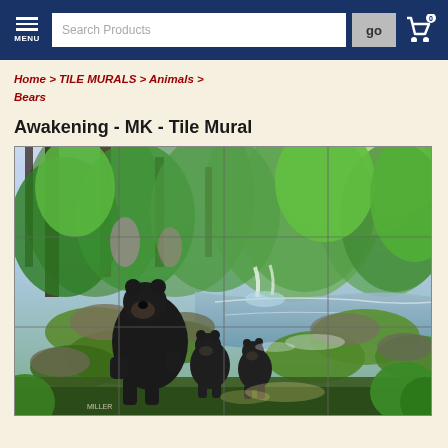MENU | Search Products | go | Cart (0)
Home > TILE MURALS > Animals > Bears
Awakening - MK - Tile Mural
[Figure (photo): A tile mural painting showing a black bear with two cubs standing on mossy rocks beside a serene forest stream, surrounded by lush green trees and foliage. The image is divided into a grid of 12 tiles (4 columns x 3 rows).]